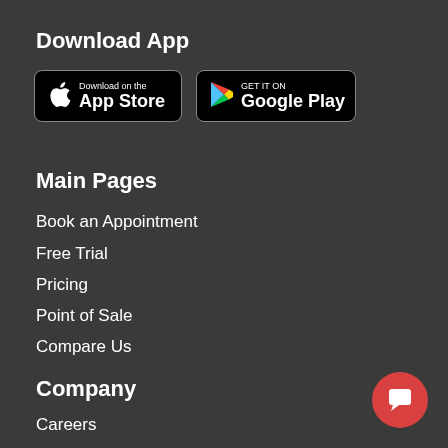Download App
[Figure (illustration): App Store and Google Play download badges on dark background]
Main Pages
Book an Appointment
Free Trial
Pricing
Point of Sale
Compare Us
Company
Careers
About Us
Privacy Policy
[Figure (illustration): Red circular chat support button in bottom right corner]